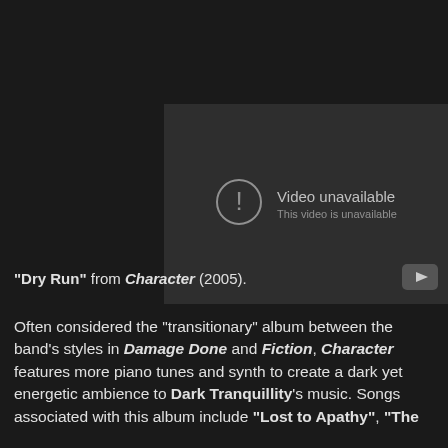[Figure (screenshot): Embedded YouTube video player showing 'Video unavailable - This video is unavailable' error message on a dark background, with YouTube logo in bottom-right corner.]
“Dry Run” from Character (2005).
Often considered the “transitionary” album between the band’s styles in Damage Done and Fiction, Character features more piano tunes and synth to create a dark yet energetic ambience to Dark Tranquillity’s music. Songs associated with this album include “Lost to Apathy”, “The